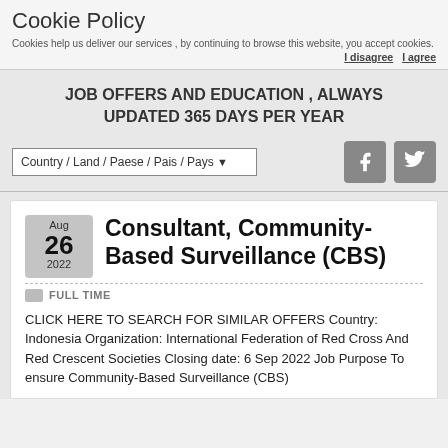Cookie Policy
Cookies help us deliver our services , by continuing to browse this website, you accept cookies.
I disagree  I agree
JOB OFFERS AND EDUCATION , ALWAYS UPDATED 365 DAYS PER YEAR
Country / Land / Paese / Pais / Pays
[Figure (other): Facebook and Twitter social media icon buttons]
Aug
26
2022
Consultant, Community-Based Surveillance (CBS)
FULL TIME
CLICK HERE TO SEARCH FOR SIMILAR OFFERS Country: Indonesia Organization: International Federation of Red Cross And Red Crescent Societies Closing date: 6 Sep 2022 Job Purpose To ensure Community-Based Surveillance (CBS)